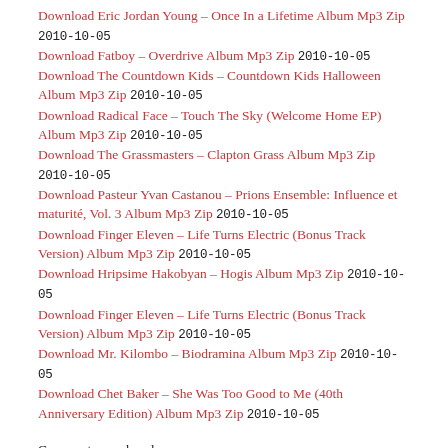Download Eric Jordan Young – Once In a Lifetime Album Mp3 Zip 2010-10-05
Download Fatboy – Overdrive Album Mp3 Zip 2010-10-05
Download The Countdown Kids – Countdown Kids Halloween Album Mp3 Zip 2010-10-05
Download Radical Face – Touch The Sky (Welcome Home EP) Album Mp3 Zip 2010-10-05
Download The Grassmasters – Clapton Grass Album Mp3 Zip 2010-10-05
Download Pasteur Yvan Castanou – Prions Ensemble: Influence et maturité, Vol. 3 Album Mp3 Zip 2010-10-05
Download Finger Eleven – Life Turns Electric (Bonus Track Version) Album Mp3 Zip 2010-10-05
Download Hripsime Hakobyan – Hogis Album Mp3 Zip 2010-10-05
Download Finger Eleven – Life Turns Electric (Bonus Track Version) Album Mp3 Zip 2010-10-05
Download Mr. Kilombo – Biodramina Album Mp3 Zip 2010-10-05
Download Chet Baker – She Was Too Good to Me (40th Anniversary Edition) Album Mp3 Zip 2010-10-05
Comments are closed.